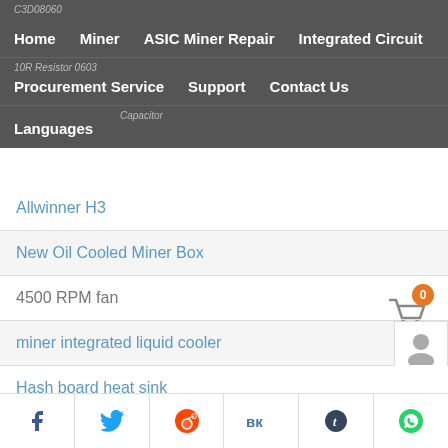C3D08060 | Home | Miner | ASIC Miner Repair | Integrated Circuit | Procurement Service | Support | Contact Us | Languages | Capacitor
Allwinner H3
New Oil Cooled Miner Box
4500 RPM fan
miner integrated liquid cooler
Hash board heat sink
StrongU U6 control board
Cheetah F3 Gen T2 T3TL PSU replace 1200 small board